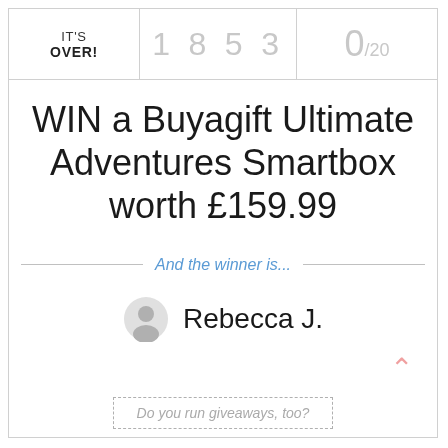IT'S OVER!
1 8 5 3
0/20
WIN a Buyagift Ultimate Adventures Smartbox worth £159.99
And the winner is...
Rebecca J.
Do you run giveaways, too?